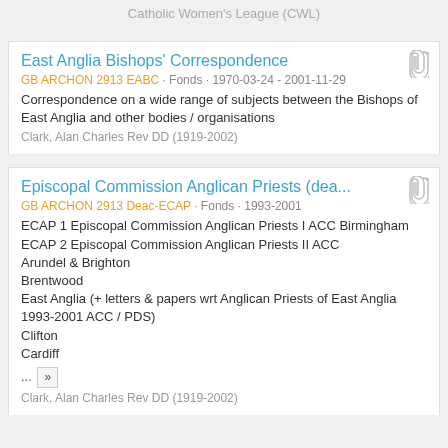Catholic Women's League (CWL)
East Anglia Bishops' Correspondence
GB ARCHON 2913 EABC · Fonds · 1970-03-24 - 2001-11-29
Correspondence on a wide range of subjects between the Bishops of East Anglia and other bodies / organisations
Clark, Alan Charles Rev DD (1919-2002)
Episcopal Commission Anglican Priests (dea...
GB ARCHON 2913 Deac-ECAP · Fonds · 1993-2001
ECAP 1 Episcopal Commission Anglican Priests I ACC Birmingham
ECAP 2 Episcopal Commission Anglican Priests II ACC
Arundel & Brighton
Brentwood
East Anglia (+ letters & papers wrt Anglican Priests of East Anglia 1993-2001 ACC / PDS)
Clifton
Cardiff
Clark, Alan Charles Rev DD (1919-2002)